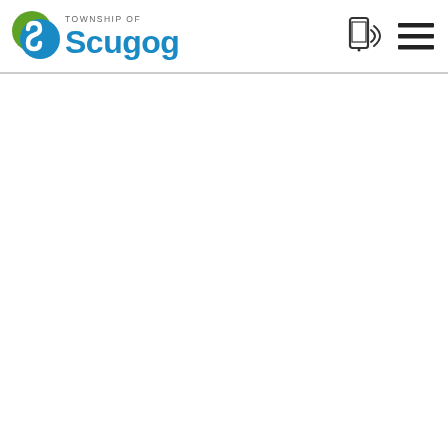[Figure (logo): Township of Scugog logo with circular S icon in green and blue, and the text 'TOWNSHIP OF Scugog' in grey/blue]
[Figure (other): Mobile/smartphone icon with wireless signal waves, indicating mobile accessibility]